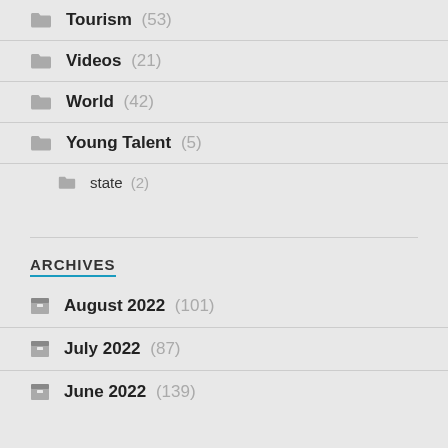Tourism (53)
Videos (21)
World (42)
Young Talent (5)
state (2)
ARCHIVES
August 2022 (101)
July 2022 (87)
June 2022 (139)